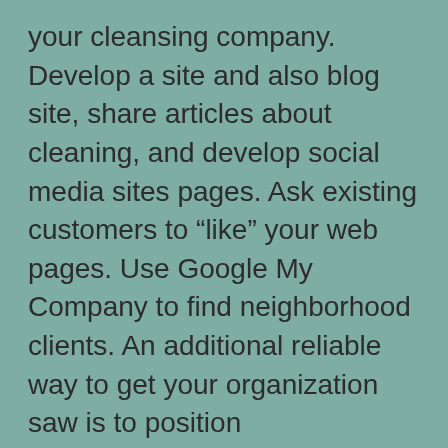your cleansing company. Develop a site and also blog site, share articles about cleaning, and develop social media sites pages. Ask existing customers to “like” your web pages. Use Google My Company to find neighborhood clients. An additional reliable way to get your organization saw is to position advertisements on search engines. Your business cards must be available at all times. Ensure to reward clients that refer you to their family and friends. On top of that, you can make use of the benefits of a recommendation plan in order to make more clients.